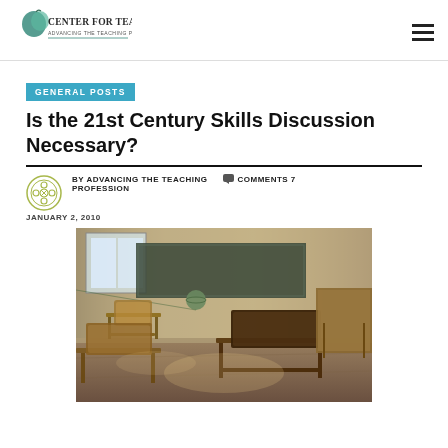[Figure (logo): Center for Teaching logo with tagline 'Advancing the Teaching Profession']
GENERAL POSTS
Is the 21st Century Skills Discussion Necessary?
BY ADVANCING THE TEACHING PROFESSION   COMMENTS 7   JANUARY 2, 2010
[Figure (photo): Black and white photograph of an empty old-fashioned classroom with wooden student desks and chairs arranged in rows, sunlight coming through windows]